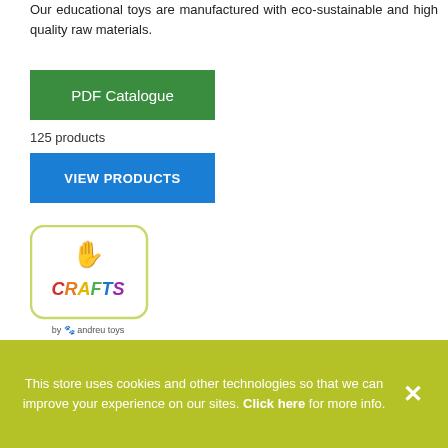Our educational toys are manufactured with eco-sustainable and high quality raw materials.
PDF Catalogue
125 products
VIEW PRODUCTS
[Figure (logo): Crafts by Andreu Toys logo: rounded square with yellow-green border, green hand icon, colorful CRAFTS lettering, 'by andreu toys' text below]
Crafts. Find in this global catalog of ideas, many different types of crafts to stimulate creativity, art and experimentation. Develop multiple abilities such as painting, drawing, cutting, sewing, threading and gluing... Also get into the world of STEAM (Science, Technolo...
This store uses cookies and other technologies so that we can improve your experience on our sites. Click here for more info.